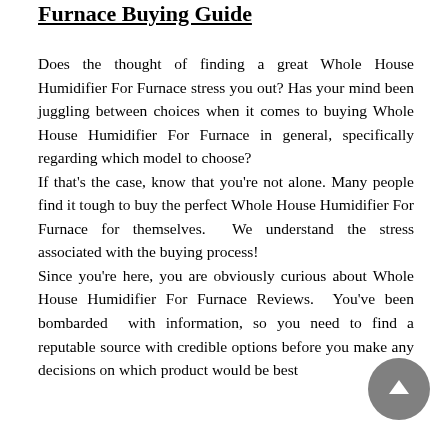Furnace Buying Guide
Does the thought of finding a great Whole House Humidifier For Furnace stress you out? Has your mind been juggling between choices when it comes to buying Whole House Humidifier For Furnace in general, specifically regarding which model to choose?
If that's the case, know that you're not alone. Many people find it tough to buy the perfect Whole House Humidifier For Furnace for themselves. We understand the stress associated with the buying process!
Since you're here, you are obviously curious about Whole House Humidifier For Furnace Reviews. You've been bombarded with information, so you need to find a reputable source with credible options before you make any decisions on which product would be best